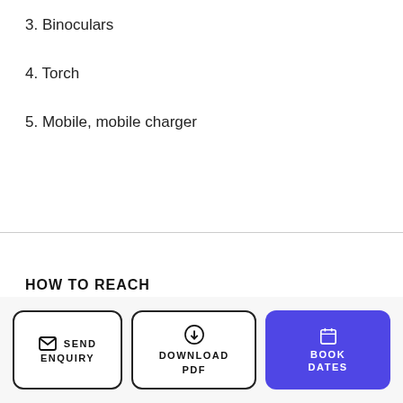3. Binoculars
4. Torch
5. Mobile, mobile charger
HOW TO REACH
SEND ENQUIRY
DOWNLOAD PDF
BOOK DATES